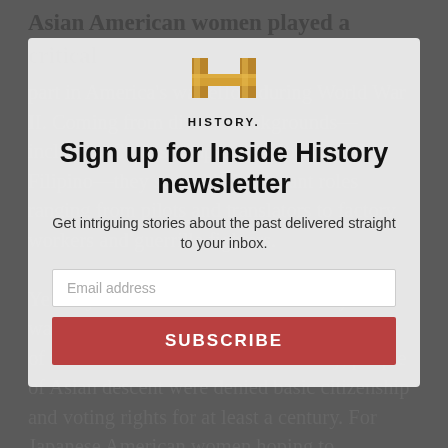Asian American women played a critical part in America's war effort during World War II. Coming from diverse backgrounds—including Chinese, Japanese, Korean and Filipino—they served in important roles ranging from pilots and translators to factory workers and guerrilla fighters.
[Figure (logo): HISTORY channel logo: stylized gold/bronze H with 'HISTORY.' text below]
Sign up for Inside History newsletter
Get intriguing stories about the past delivered straight to your inbox.
Email address
SUBSCRIBE
Yet they worked on behalf of a country that was far from fully welcoming. From the time of their arrival in the mid 19th century, people of Asian descent were denied basic citizenship and voting rights for at least a century. For Japanese American women hoping to contribute to the war effort, the 1941 attack on Pearl Harbor ratcheted up